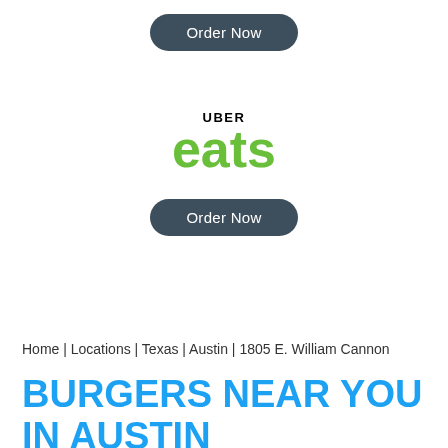[Figure (other): Dark teal rounded button labeled 'Order Now' at top of page]
[Figure (logo): Uber Eats logo with 'UBER' in black uppercase and 'eats' in large green lowercase text]
[Figure (other): Dark teal rounded button labeled 'Order Now' below Uber Eats logo]
Home | Locations | Texas | Austin | 1805 E. William Cannon
BURGERS NEAR YOU IN AUSTIN